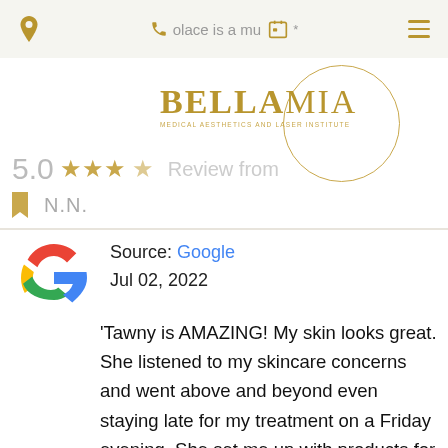place is a mu*
[Figure (logo): Bella Mia Medical Aesthetics and Laser Institute logo with circle]
5.0  ★★★★  Review from
N.N.
Source: Google
Jul 02, 2022
[Figure (logo): Google G logo colorful]
'Tawny is AMAZING! My skin looks great. She listened to my skincare concerns and went above and beyond even staying late for my treatment on a Friday evening. She set me up with products for